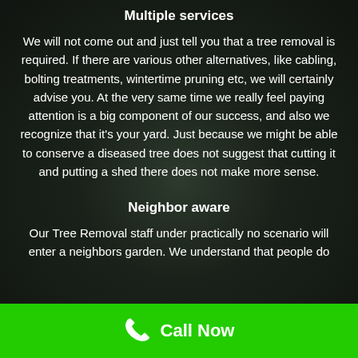Multiple services
We will not come out and just tell you that a tree removal is required. If there are various other alternatives, like cabling, bolting treatments, wintertime pruning etc, we will certainly advise you. At the very same time we really feel paying attention is a big component of our success, and also we recognize that it's your yard. Just because we might be able to conserve a diseased tree does not suggest that cutting it and putting a shed there does not make more sense.
Neighbor aware
Our Tree Removal staff under practically no scenario will enter a neighbors garden. We understand that people do
Call Now